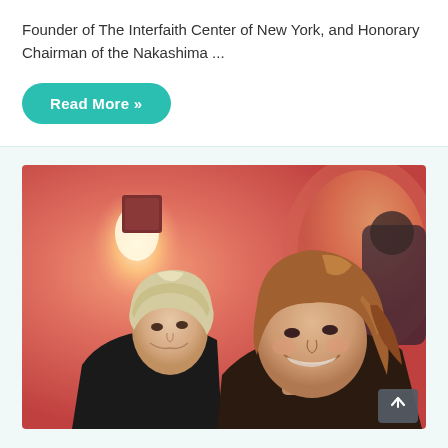Founder of The Interfaith Center of New York, and Honorary Chairman of the Nakashima ...
Read More »
[Figure (photo): Two women smiling for a selfie photo in a warmly lit restaurant or indoor setting with a pinkish-red background. The woman on the left has short blonde/silver hair and the woman on the right has long auburn/brown hair. There is a wall sconce light visible in the upper left background.]